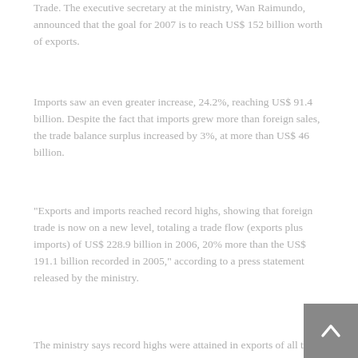Trade. The executive secretary at the ministry, Wan Raimundo, announced that the goal for 2007 is to reach US$ 152 billion worth of exports.
Imports saw an even greater increase, 24.2%, reaching US$ 91.4 billion. Despite the fact that imports grew more than foreign sales, the trade balance surplus increased by 3%, at more than US$ 46 billion.
"Exports and imports reached record highs, showing that foreign trade is now on a new level, totaling a trade flow (exports plus imports) of US$ 228.9 billion in 2006, 20% more than the US$ 191.1 billion recorded in 2005," according to a press statement released by the ministry.
The ministry says record highs were attained in exports of all three product categories, with manufactured goods answering to the largest share, followed by basic products, and semi-manufactured products.
The sector that contributed the most in absolute terms was that of transportation material, with US$ 20.4 billion worth of products exported, followed by iron and steel products,